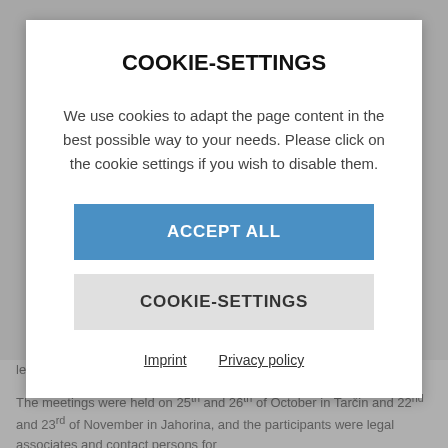COOKIE-SETTINGS
We use cookies to adapt the page content in the best possible way to your needs. Please click on the cookie settings if you wish to disable them.
ACCEPT ALL
COOKIE-SETTINGS
Imprint   Privacy policy
legislation or procedures of their implementation.
The meetings were held on 25th and 26th of October in Tarčin and 22nd and 23rd of November in Jahorina, and the participants were legal associates and contact persons for